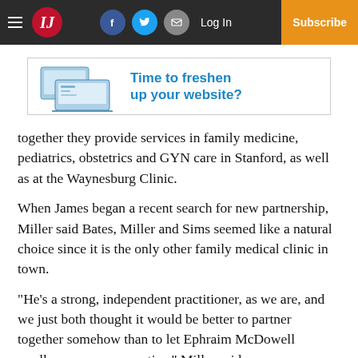IJ — Log In | Subscribe
[Figure (screenshot): Advertisement banner: image of laptops/devices on the left, blue bold text 'Time to freshen up your website?' on the right]
together they provide services in family medicine, pediatrics, obstetrics and GYN care in Stanford, as well as at the Waynesburg Clinic.
When James began a recent search for new partnership, Miller said Bates, Miller and Sims seemed like a natural choice since it is the only other family medical clinic in town.
“He’s a strong, independent practitioner, as we are, and we just both thought it would be better to partner together somehow than to let Ephraim McDowell swallow one more practice,” Miller said.
[Figure (screenshot): Advertisement banner: image of laptops/devices on the left, blue bold text 'Time to freshen up your website?' on the right]